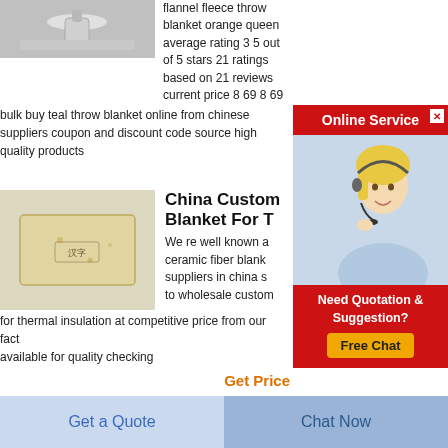[Figure (photo): Chrome bathroom fixture/faucet product image]
flannel fleece throw blanket orange queen average rating 3 5 out of 5 stars 21 ratings based on 21 reviews current price 8 69 8 69
bulk buy teal throw blanket online from chinese suppliers coupon and discount code source high quality products
[Figure (photo): Tan/cream ceramic fiber brick product photo with Chinese characters stamped on it]
China Custom Blanket For T
We re well known a ceramic fiber blank suppliers in china s to wholesale custom for thermal insulation at competitive price from our fact available for quality checking
Get Price
Rwanda Soluble Ceramic Fiber
[Figure (infographic): Online Service popup overlay with customer service representative photo, red background, Need Quotation & Suggestion? Free Chat button]